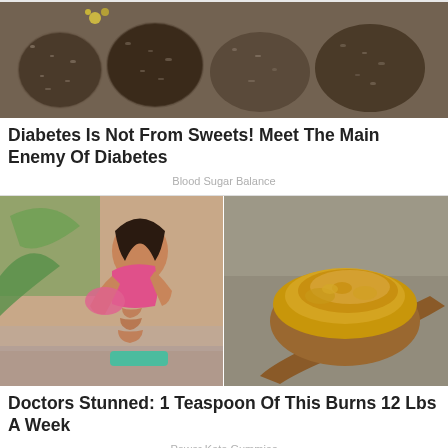[Figure (photo): Close-up photo of dark, textured round fruits or seed pods with speckled patterns, some with small yellow flowers on top]
Diabetes Is Not From Sweets! Meet The Main Enemy Of Diabetes
Blood Sugar Balance
[Figure (photo): Left side: woman in pink sports bra showing toned abs; Right side: a wooden spoon with a mound of golden-brown powder (spice)]
Doctors Stunned: 1 Teaspoon Of This Burns 12 Lbs A Week
Power Keto Gummies